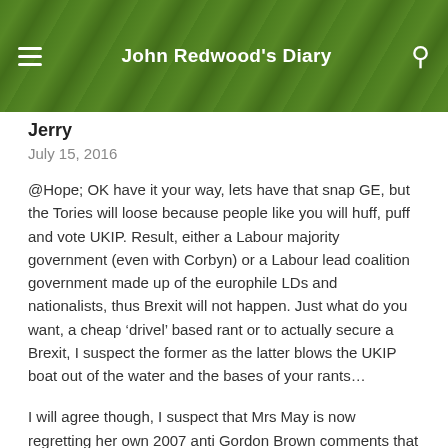John Redwood's Diary
Jerry
July 15, 2016
@Hope; OK have it your way, lets have that snap GE, but the Tories will loose because people like you will huff, puff and vote UKIP. Result, either a Labour majority government (even with Corbyn) or a Labour lead coalition government made up of the europhile LDs and nationalists, thus Brexit will not happen. Just what do you want, a cheap ‘drivel’ based rant or to actually secure a Brexit, I suspect the former as the latter blows the UKIP boat out of the water and the bases of your rants…
I will agree though, I suspect that Mrs May is now regretting her own 2007 anti Gordon Brown comments that are now